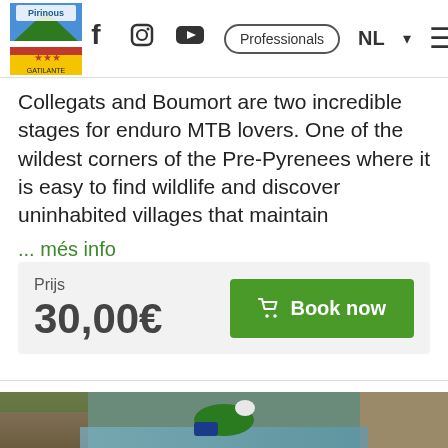Pirinous / Professionals NL [navigation bar with logo, social icons, professionals button, language selector, hamburger menu]
Collegats and Boumort are two incredible stages for enduro MTB lovers. One of the wildest corners of the Pre-Pyrenees where it is easy to find wildlife and discover uninhabited villages that maintain
... més info
Prijs
30,00€
Book now
[Figure (photo): Person in green wetsuit and helmet navigating through a narrow rocky canyon gorge with water, canyoning activity in the Pre-Pyrenees]